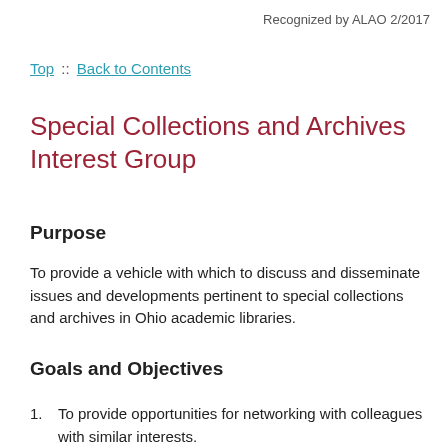Recognized by ALAO 2/2017
Top :: Back to Contents
Special Collections and Archives Interest Group
Purpose
To provide a vehicle with which to discuss and disseminate issues and developments pertinent to special collections and archives in Ohio academic libraries.
Goals and Objectives
To provide opportunities for networking with colleagues with similar interests.